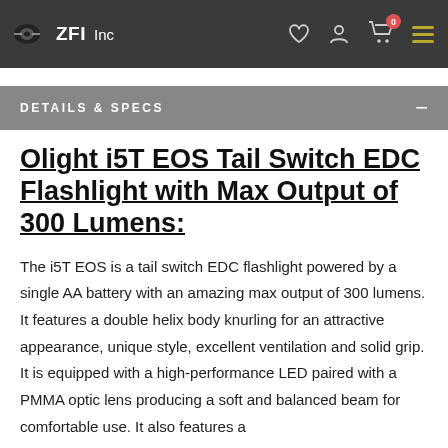ZFI Inc
DETAILS & SPECS
Olight i5T EOS Tail Switch EDC Flashlight with Max Output of 300 Lumens:
The i5T EOS is a tail switch EDC flashlight powered by a single AA battery with an amazing max output of 300 lumens. It features a double helix body knurling for an attractive appearance, unique style, excellent ventilation and solid grip. It is equipped with a high-performance LED paired with a PMMA optic lens producing a soft and balanced beam for comfortable use. It also features a